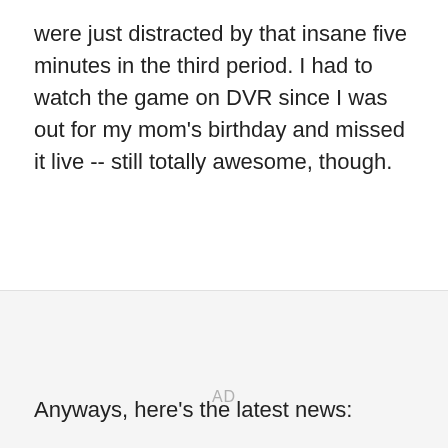were just distracted by that insane five minutes in the third period. I had to watch the game on DVR since I was out for my mom's birthday and missed it live -- still totally awesome, though.
[Figure (other): Advertisement placeholder area with 'AD' label centered in a light gray box]
Anyways, here's the latest news: